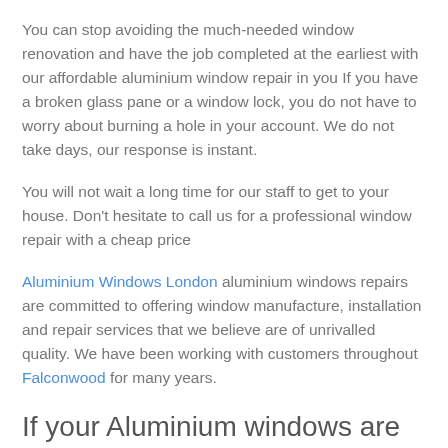You can stop avoiding the much-needed window renovation and have the job completed at the earliest with our affordable aluminium window repair in you If you have a broken glass pane or a window lock, you do not have to worry about burning a hole in your account. We do not take days, our response is instant.
You will not wait a long time for our staff to get to your house. Don't hesitate to call us for a professional window repair with a cheap price
Aluminium Windows London aluminium windows repairs are committed to offering window manufacture, installation and repair services that we believe are of unrivalled quality. We have been working with customers throughout Falconwood for many years.
If your Aluminium windows are causing problems by not opening or closing probably